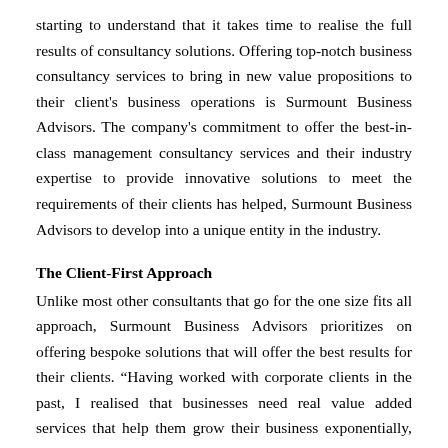starting to understand that it takes time to realise the full results of consultancy solutions. Offering top-notch business consultancy services to bring in new value propositions to their client's business operations is Surmount Business Advisors. The company's commitment to offer the best-in-class management consultancy services and their industry expertise to provide innovative solutions to meet the requirements of their clients has helped, Surmount Business Advisors to develop into a unique entity in the industry.
The Client-First Approach
Unlike most other consultants that go for the one size fits all approach, Surmount Business Advisors prioritizes on offering bespoke solutions that will offer the best results for their clients. "Having worked with corporate clients in the past, I realised that businesses need real value added services that help them grow their business exponentially, which included financing, strategy, growth and business advisory. These are quite wide terms and can mean different things for different business setups. Our work involves solving business problems through deep diving into various business aspects to get the desired growth/solution. We offer a wide variety of services ranging from accounting and taxation advisory, business and strategy consulting, and growth advisory. Our intention in any of the